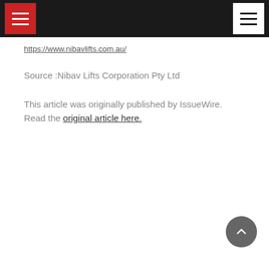[Navigation bar with hamburger menus]
https://www.nibavlifts.com.au/
Source :Nibav Lifts Corporation Pty Ltd
This article was originally published by IssueWire. Read the original article here.